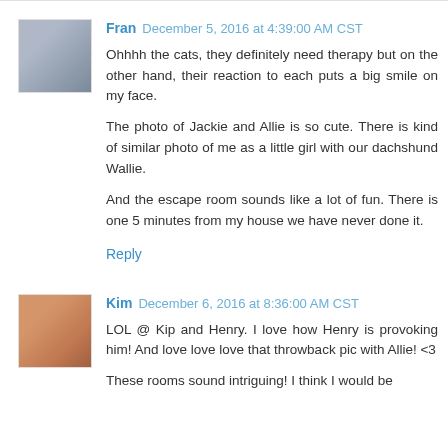Fran December 5, 2016 at 4:39:00 AM CST
Ohhhh the cats, they definitely need therapy but on the other hand, their reaction to each puts a big smile on my face.

The photo of Jackie and Allie is so cute. There is kind of similar photo of me as a little girl with our dachshund Wallie.

And the escape room sounds like a lot of fun. There is one 5 minutes from my house we have never done it.
Reply
Kim December 6, 2016 at 8:36:00 AM CST
LOL @ Kip and Henry. I love how Henry is provoking him! And love love love that throwback pic with Allie! <3

These rooms sound intriguing! I think I would be